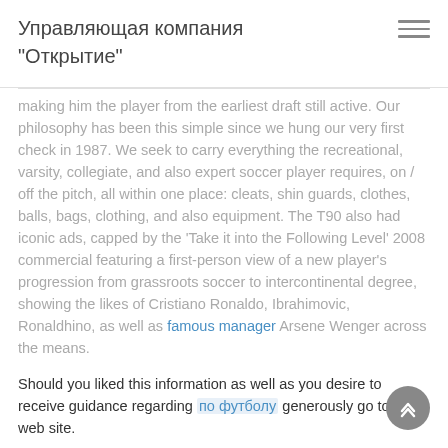Управляющая компания "Открытие"
making him the player from the earliest draft still active. Our philosophy has been this simple since we hung our very first check in 1987. We seek to carry everything the recreational, varsity, collegiate, and also expert soccer player requires, on / off the pitch, all within one place: cleats, shin guards, clothes, balls, bags, clothing, and also equipment. The T90 also had iconic ads, capped by the 'Take it into the Following Level' 2008 commercial featuring a first-person view of a new player's progression from grassroots soccer to intercontinental degree, showing the likes of Cristiano Ronaldo, Ibrahimovic, Ronaldhino, as well as famous manager Arsene Wenger across the means.
Should you liked this information as well as you desire to receive guidance regarding по футболу generously go to the web site.
От Lourdes Ferrara, 3 месяца тому